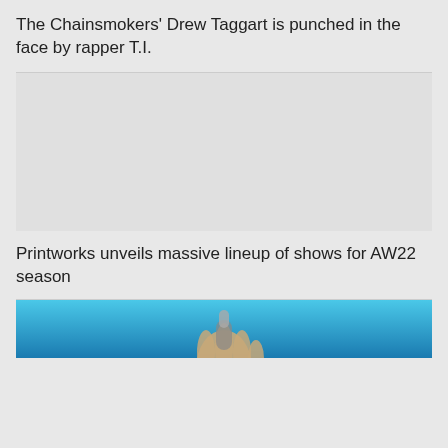The Chainsmokers’ Drew Taggart is punched in the face by rapper T.I.
[Figure (photo): Empty gray placeholder area where an image would appear]
Printworks unveils massive lineup of shows for AW22 season
[Figure (photo): Partial photo showing a hand against a blue background, appears to be a performer at an event]